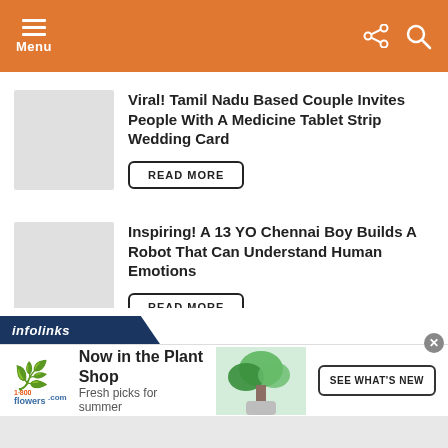Menu
Viral! Tamil Nadu Based Couple Invites People With A Medicine Tablet Strip Wedding Card
READ MORE
Inspiring! A 13 YO Chennai Boy Builds A Robot That Can Understand Human Emotions
READ MORE
[Figure (screenshot): infolinks ad bar]
[Figure (screenshot): 1-800-flowers advertisement banner: Now in the Plant Shop, Fresh picks for summer, SEE WHAT'S NEW button, plant image]